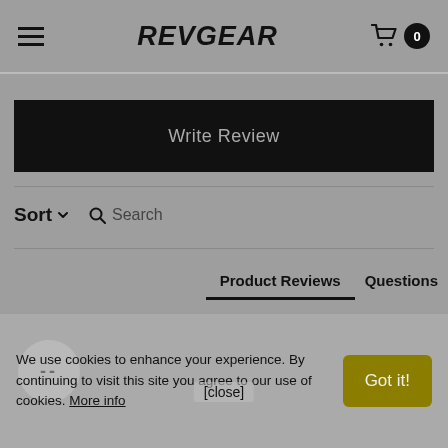REVGEAR — navigation header with hamburger menu, logo, and cart (0 items)
Write Review
Sort  Search
Product Reviews  Questions
--
We use cookies to enhance your experience. By continuing to visit this site you agree to our use of cookies. More info
Got it!
[close]